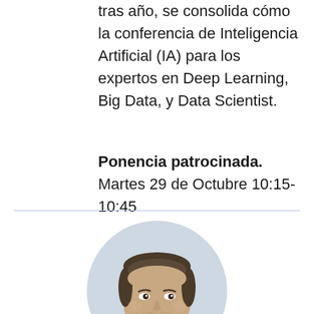tras año, se consolida cómo la conferencia de Inteligencia Artificial (IA) para los expertos en Deep Learning, Big Data, y Data Scientist.
Ponencia patrocinada.
Martes 29 de Octubre 10:15-10:45
[Figure (photo): Circular headshot of a smiling middle-aged man with short dark hair and beard, wearing a light blue shirt, against a light gray background.]